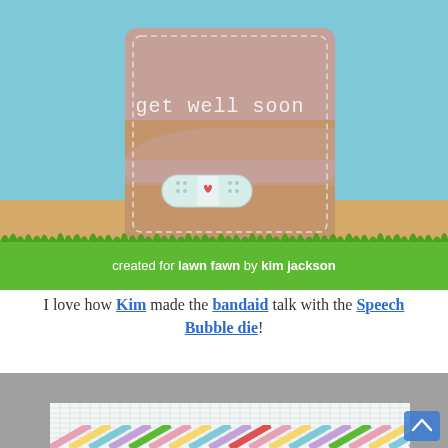[Figure (photo): Photo of a handmade 'get well soon' greeting card with a speech bubble design, bandaid embellishment with a heart, on a wooden surface with light blue background. Banner at bottom reads 'created for lawn fawn by kim jackson' on green grass graphic.]
I love how Kim made the bandaid talk with the Speech Bubble die!
[Figure (photo): Partial view of another handmade card with colorful diagonal stripes on a grid/graph paper background.]